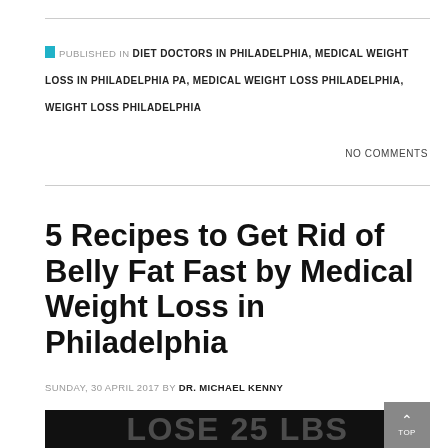PUBLISHED IN DIET DOCTORS IN PHILADELPHIA, MEDICAL WEIGHT LOSS IN PHILADELPHIA PA, MEDICAL WEIGHT LOSS PHILADELPHIA, WEIGHT LOSS PHILADELPHIA
NO COMMENTS
5 Recipes to Get Rid of Belly Fat Fast by Medical Weight Loss in Philadelphia
SUNDAY, 30 APRIL 2017 BY DR. MICHAEL KENNY
[Figure (photo): Partial image showing large white text 'LOSE 25 LBS' on dark background]